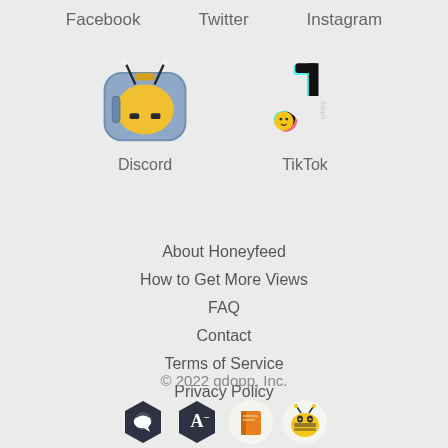Facebook   Twitter   Instagram
[Figure (illustration): Discord bee mascot logo — cartoon bee face on a blue backpack-shaped body]
[Figure (logo): TikTok logo — black musical note shape with cyan and pink accents, small bee face in center]
Discord
TikTok
About Honeyfeed
How to Get More Views
FAQ
Contact
Terms of Service
Privacy Policy
© 2022 qdopp, Inc.
[Figure (illustration): Four app store / platform icons: dark hexagon with chat bubble, dark hexagon with letter A minus, orange book/notebook icon, and bee emoji face]